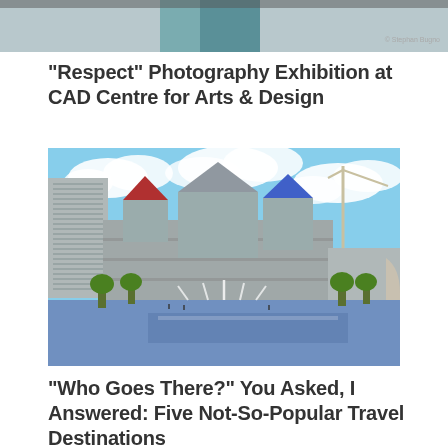[Figure (photo): Partial top image - cropped photo showing what appears to be a person, with photo credit 'Stephan Bugno' in bottom right corner]
“Respect” Photography Exhibition at CAD Centre for Arts & Design
[Figure (photo): Daytime photo of the New York State Capitol building and Empire State Plaza in Albany, NY, showing the ornate Victorian Gothic capitol with red roofs, a modern glass skyscraper to the left, fountains and reflecting pools in the foreground, trees lining the plaza, a construction crane visible behind the building, and blue sky with white clouds]
“Who Goes There?” You Asked, I Answered: Five Not-So-Popular Travel Destinations